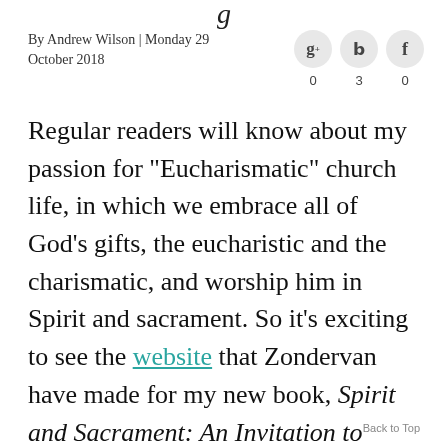g
By Andrew Wilson | Monday 29 October 2018
Regular readers will know about my passion for "Eucharismatic" church life, in which we embrace all of God's gifts, the eucharistic and the charismatic, and worship him in Spirit and sacrament. So it's exciting to see the website that Zondervan have made for my new book, Spirit and Sacrament: An Invitation to Eucharismatic Worship, which features a description of the book and a number of places you can pre-order it. If you like the look of it,
Back to Top